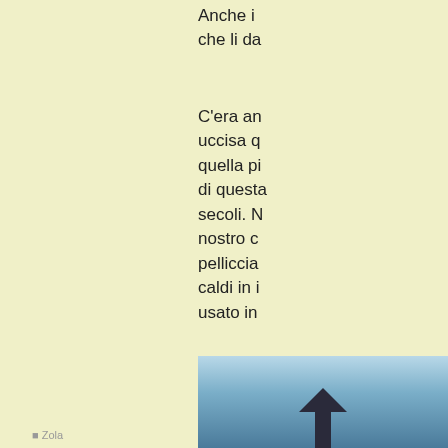Anche i che li da
C'era an uccisa q quella pi di questa secoli. N nostro c pelliccia caldi in i usato in
Quando evento p che tagli loro picc lontana a
[Figure (photo): Photo of what appears to be a bird or animal against a blue sky background]
Zola